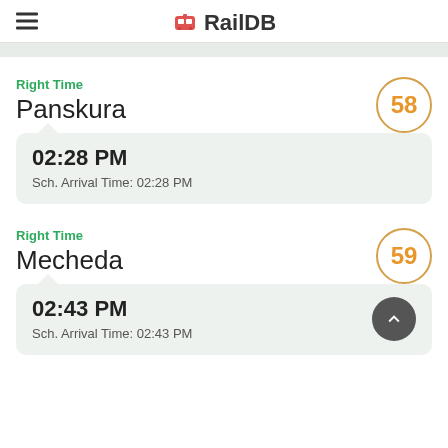RailDB
Right Time
Panskura
58
02:28 PM
Sch. Arrival Time: 02:28 PM
Right Time
Mecheda
59
02:43 PM
Sch. Arrival Time: 02:43 PM